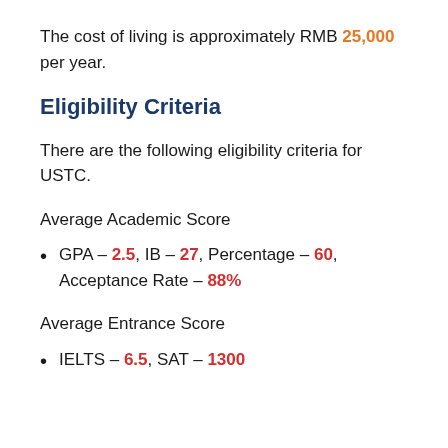The cost of living is approximately RMB 25,000 per year.
Eligibility Criteria
There are the following eligibility criteria for USTC.
Average Academic Score
GPA – 2.5, IB – 27, Percentage – 60, Acceptance Rate – 88%
Average Entrance Score
IELTS – 6.5, SAT – 1300